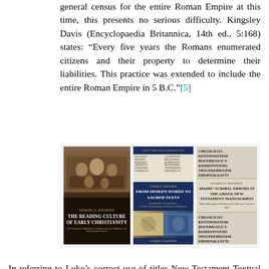general census for the entire Roman Empire at this time, this presents no serious difficulty. Kingsley Davis (Encyclopaedia Britannica, 14th ed., 5:168) states: “Every five years the Romans enumerated citizens and their property to determine their liabilities. This practice was extended to include the entire Roman Empire in 5 B.C.”[5]
[Figure (photo): Three book covers side by side: 1) 'The Reading Culture of Early Christianity' by Edward D. Andrews, dark cover with manuscript imagery. 2) 'From Spoken Words to Sacred Texts' by Edward D. Andrews, dark blue cover with manuscript text and imagery. 3) '400,000+ Scribal Errors in the Greek New Testament Manuscripts' by Edward D. Andrews, cover featuring Greek manuscript text.]
In referring to Luke’s correct use of titles New Testament Textual scholar Bruce M. Metzger